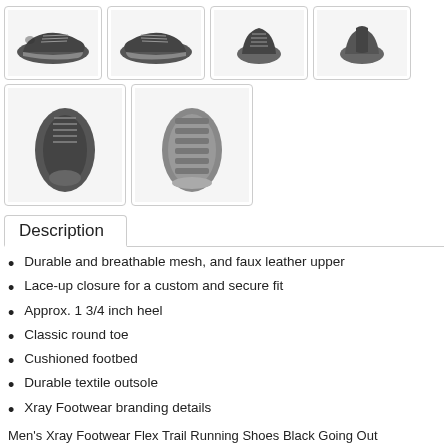[Figure (photo): Four shoe thumbnail images in a row (top view, side views) of black athletic trail running shoes]
[Figure (photo): Two shoe thumbnail images: top-down view and sole view of black athletic trail running shoes]
Description
Durable and breathable mesh, and faux leather upper
Lace-up closure for a custom and secure fit
Approx. 1 3/4 inch heel
Classic round toe
Cushioned footbed
Durable textile outsole
Xray Footwear branding details
Men's Xray Footwear Flex Trail Running Shoes Black Going Out 2QL2V6269
[Figure (other): Yellow favorite (heart) and filter/compare (sliders) icon buttons]